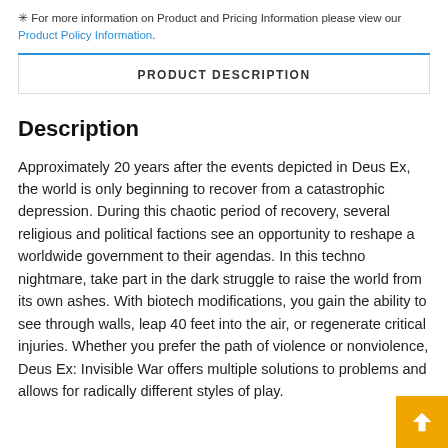✳ For more information on Product and Pricing Information please view our Product Policy Information.
PRODUCT DESCRIPTION
Description
Approximately 20 years after the events depicted in Deus Ex, the world is only beginning to recover from a catastrophic depression. During this chaotic period of recovery, several religious and political factions see an opportunity to reshape a worldwide government to their agendas. In this techno nightmare, take part in the dark struggle to raise the world from its own ashes. With biotech modifications, you gain the ability to see through walls, leap 40 feet into the air, or regenerate critical injuries. Whether you prefer the path of violence or nonviolence, Deus Ex: Invisible War offers multiple solutions to problems and allows for radically different styles of play.